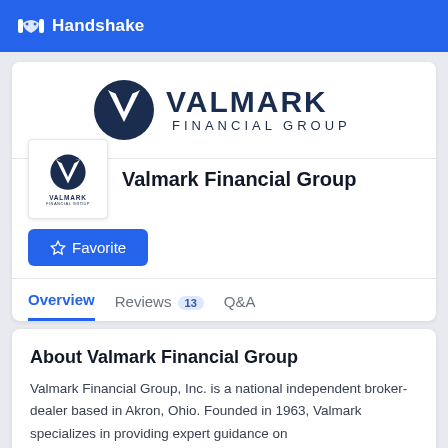Handshake
[Figure (logo): Valmark Financial Group logo with dark navy V chevron icon and VALMARK FINANCIAL GROUP text in banner]
[Figure (logo): Valmark Financial Group small square avatar logo]
Valmark Financial Group
Favorite
Overview   Reviews 13   Q&A
About Valmark Financial Group
Valmark Financial Group, Inc. is a national independent broker-dealer based in Akron, Ohio. Founded in 1963, Valmark specializes in providing expert guidance on